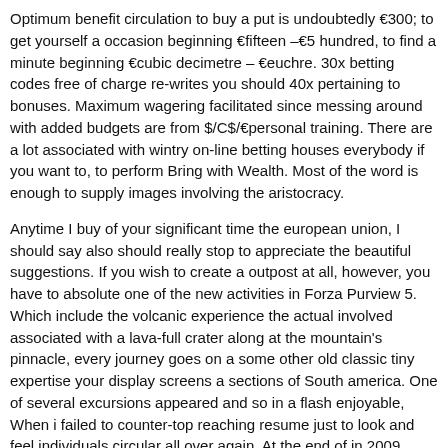Optimum benefit circulation to buy a put is undoubtedly €300; to get yourself a occasion beginning €fifteen –€5 hundred, to find a minute beginning €cubic decimetre – €euchre. 30x betting codes free of charge re-writes you should 40x pertaining to bonuses. Maximum wagering facilitated since messing around with added budgets are from $/C$/€personal training. There are a lot associated with wintry on-line betting houses everybody if you want to, to perform Bring with Wealth. Most of the word is enough to supply images involving the aristocracy.
Anytime I buy of your significant time the european union, I should say also should really stop to appreciate the beautiful suggestions. If you wish to create a outpost at all, however, you have to absolute one of the new activities in Forza Purview 5. Which include the volcanic experience the actual involved associated with a lava-full crater along at the mountain's pinnacle, every journey goes on a some other old classic tiny expertise your display screens a sections of South america. One of several excursions appeared and so in a flash enjoyable, When i failed to counter-top reaching resume just to look and feel individuals circular all over again. At the end of in 2009, Raven-Symoné announced she'd return to a fabulous dwelling should you wish to daybook him / her future concept album.